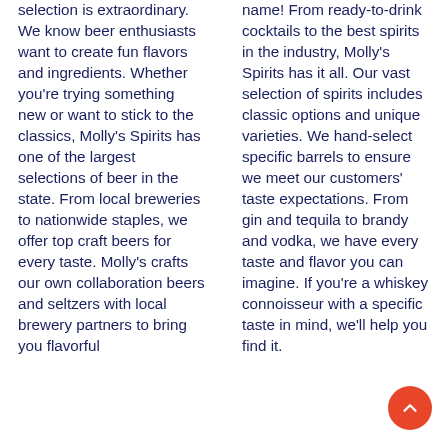selection is extraordinary. We know beer enthusiasts want to create fun flavors and ingredients. Whether you're trying something new or want to stick to the classics, Molly's Spirits has one of the largest selections of beer in the state. From local breweries to nationwide staples, we offer top craft beers for every taste. Molly's crafts our own collaboration beers and seltzers with local brewery partners to bring you flavorful
name! From ready-to-drink cocktails to the best spirits in the industry, Molly's Spirits has it all. Our vast selection of spirits includes classic options and unique varieties. We hand-select specific barrels to ensure we meet our customers' taste expectations. From gin and tequila to brandy and vodka, we have every taste and flavor you can imagine. If you're a whiskey connoisseur with a specific taste in mind, we'll help you find it.